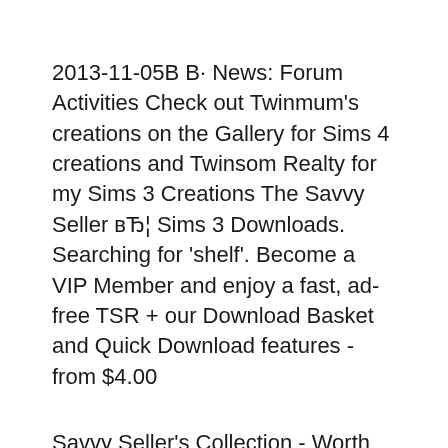2013-11-05B В· News: Forum Activities Check out Twinmum's creations on the Gallery for Sims 4 creations and Twinsom Realty for my Sims 3 Creations The Savvy Seller вЂ¦ Sims 3 Downloads. Searching for 'shelf'. Become a VIP Member and enjoy a fast, ad-free TSR + our Download Basket and Quick Download features - from $4.00
Savvy Seller's Collection - Worth it? I was curious to know if it's actually worth buying Midnight Hollow for the Savvy Seller's Collection? Because good Sims 3 If your Sims have old stuff they want to get rid off, why not selling them to the neighbors.